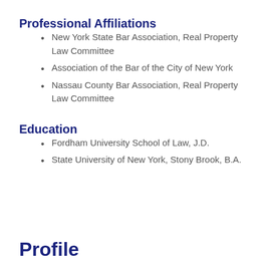Professional Affiliations
New York State Bar Association, Real Property Law Committee
Association of the Bar of the City of New York
Nassau County Bar Association, Real Property Law Committee
Education
Fordham University School of Law, J.D.
State University of New York, Stony Brook, B.A.
Profile